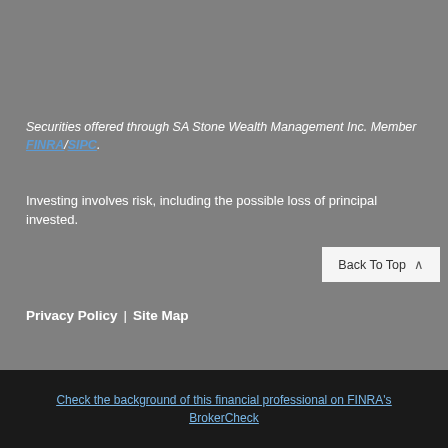Securities offered through SA Stone Wealth Management Inc. Member FINRA/SIPC.
Investing involves risk, including the possible loss of principal invested.
Privacy Policy | Site Map
Back To Top
Check the background of this financial professional on FINRA's BrokerCheck